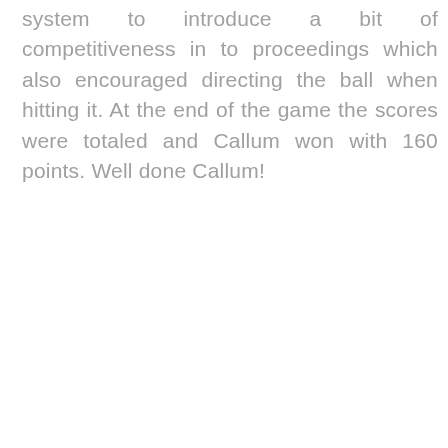system to introduce a bit of competitiveness in to proceedings which also encouraged directing the ball when hitting it. At the end of the game the scores were totaled and Callum won with 160 points. Well done Callum!